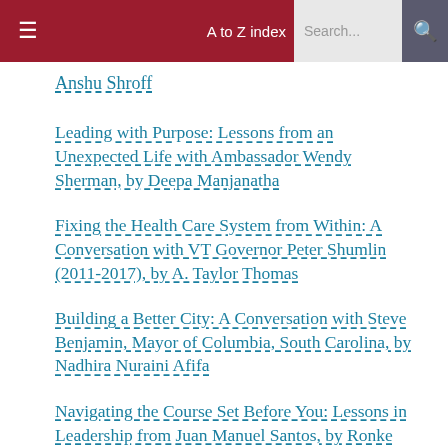≡  A to Z index  Search...  🔍
Anshu Shroff
Leading with Purpose: Lessons from an Unexpected Life with Ambassador Wendy Sherman, by Deepa Manjanatha
Fixing the Health Care System from Within: A Conversation with VT Governor Peter Shumlin (2011-2017), by A. Taylor Thomas
Building a Better City: A Conversation with Steve Benjamin, Mayor of Columbia, South Carolina, by Nadhira Nuraini Afifa
Navigating the Course Set Before You: Lessons in Leadership from Juan Manuel Santos, by Ronke